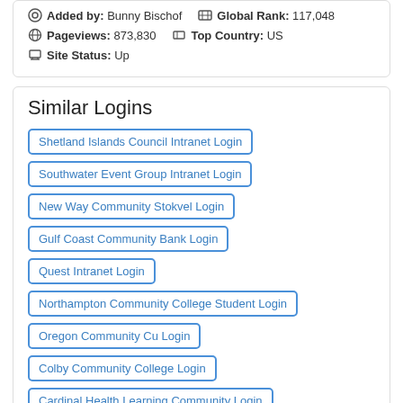Added by: Bunny Bischof  Global Rank: 117,048
Pageviews: 873,830  Top Country: US
Site Status: Up
Similar Logins
Shetland Islands Council Intranet Login
Southwater Event Group Intranet Login
New Way Community Stokvel Login
Gulf Coast Community Bank Login
Quest Intranet Login
Northampton Community College Student Login
Oregon Community Cu Login
Colby Community College Login
Cardinal Health Learning Community Login